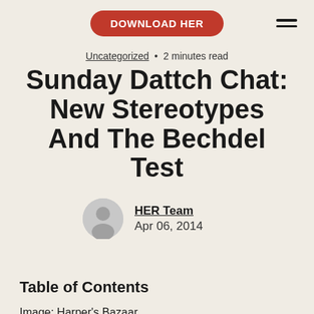DOWNLOAD HER
Uncategorized • 2 minutes read
Sunday Dattch Chat: New Stereotypes And The Bechdel Test
HER Team
Apr 06, 2014
Table of Contents
Image: Harper's Bazaar